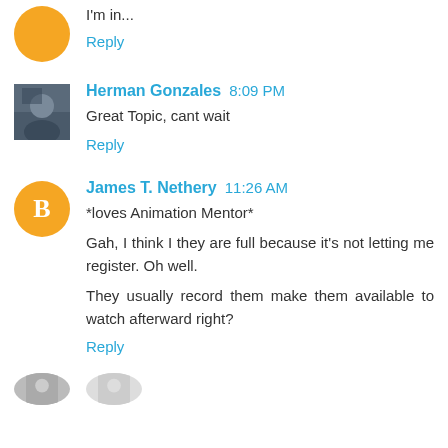I'm in...
Reply
Herman Gonzales  8:09 PM
Great Topic, cant wait
Reply
James T. Nethery  11:26 AM
*loves Animation Mentor*
Gah, I think I they are full because it's not letting me register. Oh well.
They usually record them make them available to watch afterward right?
Reply